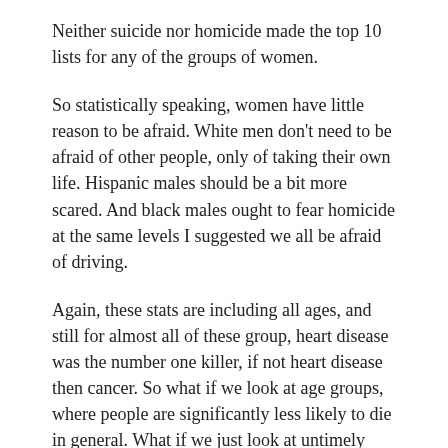Neither suicide nor homicide made the top 10 lists for any of the groups of women.
So statistically speaking, women have little reason to be afraid.  White men don't need to be afraid of other people, only of taking their own life.  Hispanic males should be a bit more scared.  And black males ought to fear homicide at the same levels I suggested we all be afraid of driving.
Again, these stats are including all ages, and still for almost all of these group, heart disease was the number one killer, if not heart disease then cancer.  So what if we look at age groups, where people are significantly less likely to die in general.  What if we just look at untimely deaths.